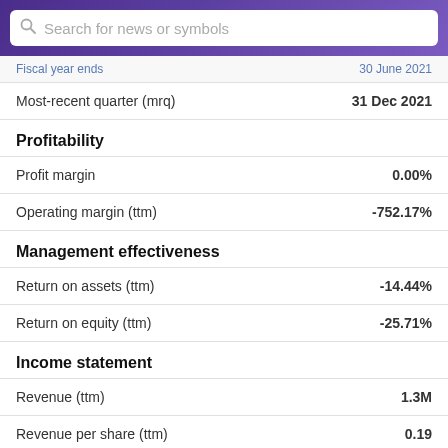Search for news or symbols
Fiscal year ends: 30 June 2021
Most-recent quarter (mrq): 31 Dec 2021
Profitability
Profit margin: 0.00%
Operating margin (ttm): -752.17%
Management effectiveness
Return on assets (ttm): -14.44%
Return on equity (ttm): -25.71%
Income statement
Revenue (ttm): 1.3M
Revenue per share (ttm): 0.19